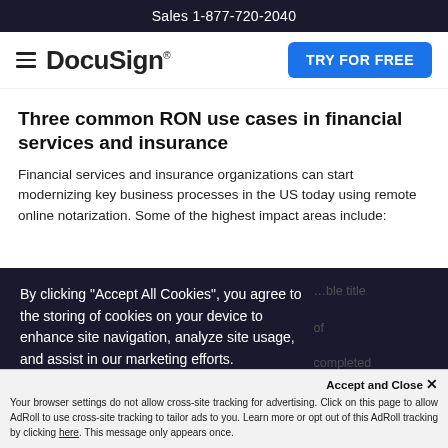Sales 1-877-720-2040
[Figure (logo): DocuSign logo with hamburger menu and TRY FOR FREE button]
Three common RON use cases in financial services and insurance
Financial services and insurance organizations can start modernizing key business processes in the US today using remote online notarization. Some of the highest impact areas include:
By clicking “Accept All Cookies”, you agree to the storing of cookies on your device to enhance site navigation, analyze site usage, and assist in our marketing efforts.
Your browser settings do not allow cross-site tracking for advertising. Click on this page to allow AdRoll to use cross-site tracking to tailor ads to you. Learn more or opt out of this AdRoll tracking by clicking here. This message only appears once.